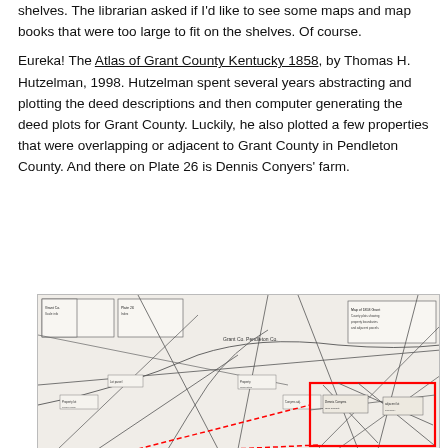shelves. The librarian asked if I'd like to see some maps and map books that were too large to fit on the shelves. Of course.
Eureka! The Atlas of Grant County Kentucky 1858, by Thomas H. Hutzelman, 1998. Hutzelman spent several years abstracting and plotting the deed descriptions and then computer generating the deed plots for Grant County. Luckily, he also plotted a few properties that were overlapping or adjacent to Grant County in Pendleton County. And there on Plate 26 is Dennis Conyers' farm.
[Figure (map): A historical deed plot map showing Grant County and Pendleton County boundary area. Multiple property lines radiate from central points. A red rectangle highlights one particular area (Dennis Conyers' farm on Plate 26). Small text labels and boxes appear throughout the map indicating property owners and boundaries. Dashed red lines extend from the highlighted rectangle.]